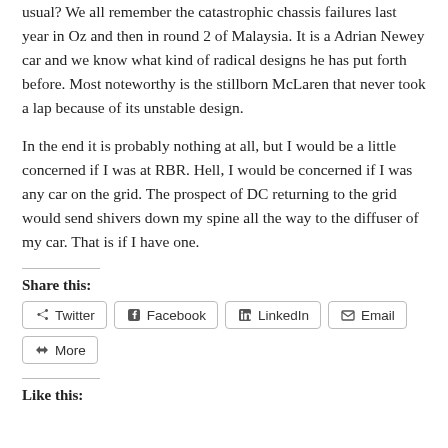usual? We all remember the catastrophic chassis failures last year in Oz and then in round 2 of Malaysia. It is a Adrian Newey car and we know what kind of radical designs he has put forth before. Most noteworthy is the stillborn McLaren that never took a lap because of its unstable design.
In the end it is probably nothing at all, but I would be a little concerned if I was at RBR. Hell, I would be concerned if I was any car on the grid. The prospect of DC returning to the grid would send shivers down my spine all the way to the diffuser of my car. That is if I have one.
Share this:
Twitter Facebook LinkedIn Email More
Like this: